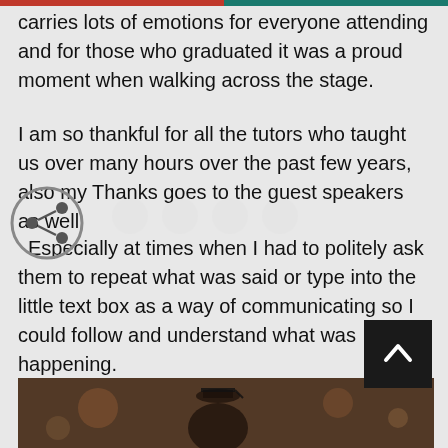carries lots of emotions for everyone attending and for those who graduated it was a proud moment when walking across the stage.
I am so thankful for all the tutors who taught us over many hours over the past few years, also my Thanks goes to the guest speakers as well.
Especially at times when I had to politely ask them to repeat what was said or type into the little text box as a way of communicating so I could follow and understand what was happening.
Thank you everyone for making this possibl...
[Figure (photo): Graduation photo strip at the bottom of the page showing people in graduation caps and gowns]